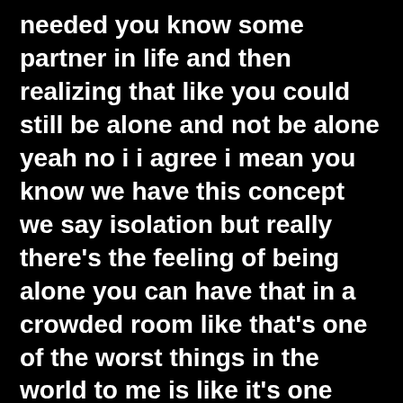needed you know some partner in life and then realizing that like you could still be alone and not be alone yeah no i i agree i mean you know we have this concept we say isolation but really there's the feeling of being alone you can have that in a crowded room like that's one of the worst things in the world to me is like it's one thing to feel alone when i am alone but to feel alone when i'm supposedly not that's even worse it's like jesus here i am with either a large you know group of people or even you know if your relationship or your marriage doesn't feel very connected it's like [ __ ] here i am with the person i'm supposed to be connected to and i still feel all by myself i'd rather feel alone being alone than feel alone when i'm not supposed to feel alone like that feels even